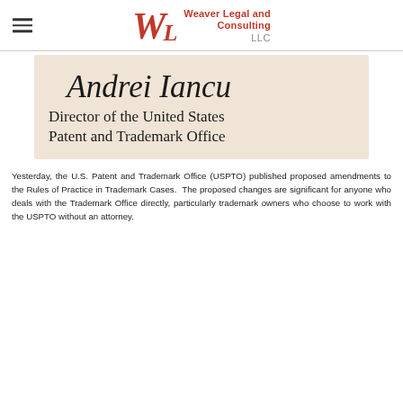Weaver Legal and Consulting LLC
[Figure (photo): Photo of a signature reading 'Andrei Iancu' above the text 'Director of the United States Patent and Trademark Office' on a cream/beige background document]
Yesterday, the U.S. Patent and Trademark Office (USPTO) published proposed amendments to the Rules of Practice in Trademark Cases. The proposed changes are significant for anyone who deals with the Trademark Office directly, particularly trademark owners who choose to work with the USPTO without an attorney.